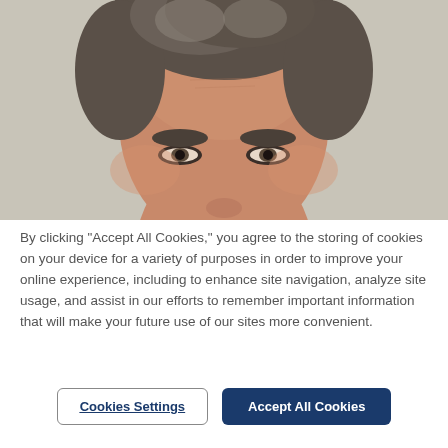[Figure (photo): Close-up photo of a middle-aged man with short gray-brown hair against a light gray/beige background. Only the top portion of his face is visible, cropped at the nose/upper lip area.]
By clicking “Accept All Cookies,” you agree to the storing of cookies on your device for a variety of purposes in order to improve your online experience, including to enhance site navigation, analyze site usage, and assist in our efforts to remember important information that will make your future use of our sites more convenient.
Cookies Settings
Accept All Cookies